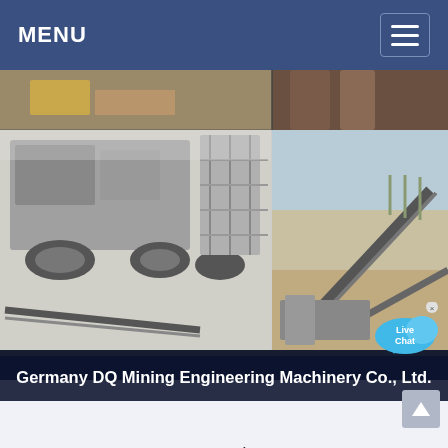MENU
[Figure (photo): Two side-by-side images of mining and crushing machinery equipment at industrial sites]
Germany DQ Mining Engineering Machinery Co., Ltd.
consult
compact concrete crusher price disadvantage of black sand; black sands gold claims for sale; detail parts of milling machine; cement ball mill angle of inclination; calcium carbonate process crushing